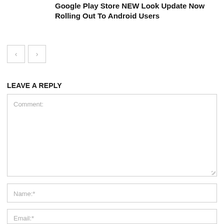Google Play Store NEW Look Update Now Rolling Out To Android Users
[Figure (other): Navigation prev/next arrow buttons]
LEAVE A REPLY
Comment:
Name:*
Email:*